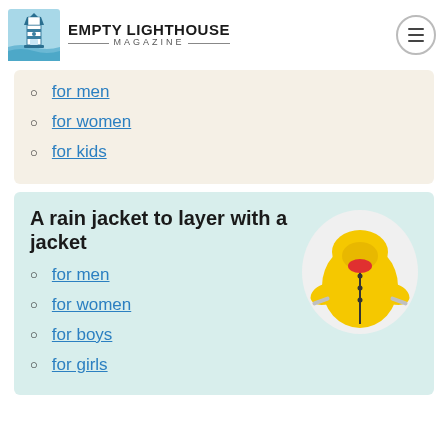Empty Lighthouse Magazine
for men
for women
for kids
[Figure (photo): Yellow children's rain jacket with hood and reflective strips]
A rain jacket to layer with a jacket
for men
for women
for boys
for girls